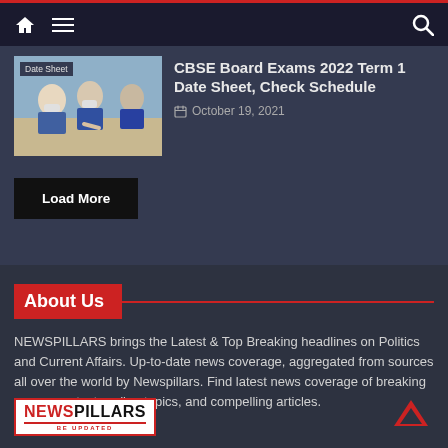Newspillars navigation bar with home, menu, and search icons
[Figure (photo): Students in masks writing at desks, with 'Date Sheet' label overlay]
CBSE Board Exams 2022 Term 1 Date Sheet, Check Schedule
October 19, 2021
Load More
About Us
NEWSPILLARS brings the Latest & Top Breaking headlines on Politics and Current Affairs. Up-to-date news coverage, aggregated from sources all over the world by Newspillars. Find latest news coverage of breaking news events, trending topics, and compelling articles.
[Figure (logo): NEWSPILLARS logo — NEWS in red, PILLARS in black, BE UPDATED tagline, red border]